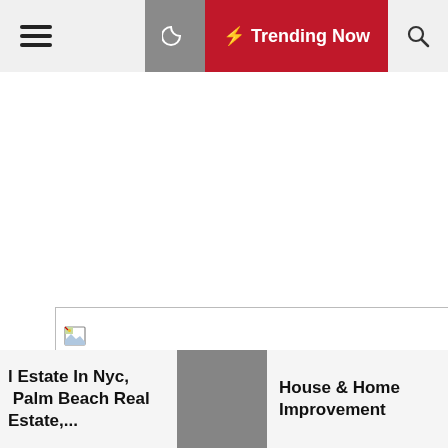≡  Trending Now 🔍
[Figure (screenshot): Broken image placeholder icon inside a rectangular bordered box]
l Estate In Nyc, Palm Beach Real Estate,...
House & Home Improvement